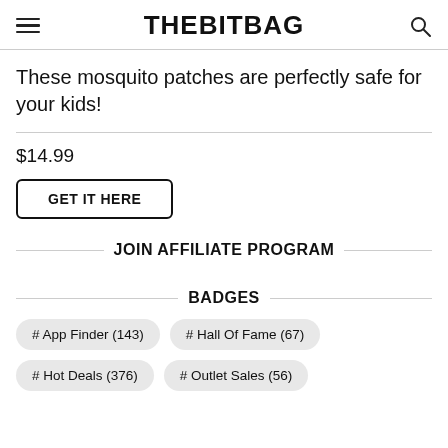THEBITBAG
These mosquito patches are perfectly safe for your kids!
$14.99
GET IT HERE
JOIN AFFILIATE PROGRAM
BADGES
# App Finder (143)
# Hall Of Fame (67)
# Hot Deals (376)
# Outlet Sales (56)